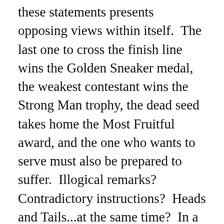these statements presents opposing views within itself.  The last one to cross the finish line wins the Golden Sneaker medal, the weakest contestant wins the Strong Man trophy, the dead seed takes home the Most Fruitful award, and the one who wants to serve must also be prepared to suffer.  Illogical remarks?  Contradictory instructions?  Heads and Tails...at the same time?  In a word...in God's Word...they are simply a paradox: statements with seemingly illogical conclusions.  But remember, for now, we only see in part.  When we see God face to face, then we'll see the whole (1 Cor. 13:12) and the paradox will be fully seen in the light of paradise.   But, until then, we'll need a new paradis...